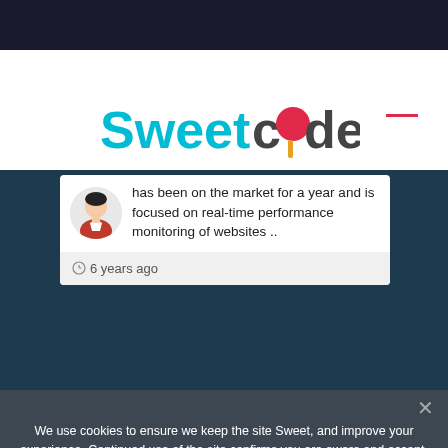[Figure (logo): SweetCode logo with cyan 'Sweet' text, dark 'code' text, and a red lollipop icon replacing the 'o' in code]
has been on the market for a year and is focused on real-time performance monitoring of websites ..
6 years ago
We use cookies to ensure we keep the site Sweet, and improve your experience. Continued use of the site confirms you are aware and accept.
Accept  Privacy policy